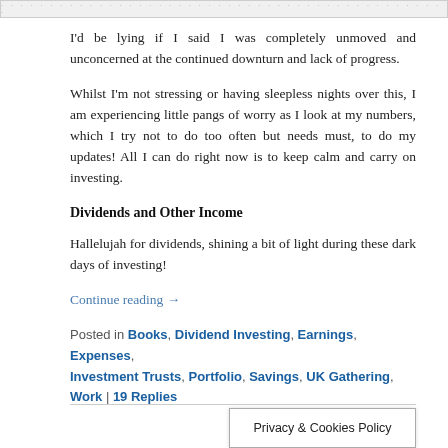[Figure (other): Partial top edge of a chart or image strip with ruler/measurement markings in light gray]
I'd be lying if I said I was completely unmoved and unconcerned at the continued downturn and lack of progress.
Whilst I'm not stressing or having sleepless nights over this, I am experiencing little pangs of worry as I look at my numbers, which I try not to do too often but needs must, to do my updates! All I can do right now is to keep calm and carry on investing.
Dividends and Other Income
Hallelujah for dividends, shining a bit of light during these dark days of investing!
Continue reading →
Posted in Books, Dividend Investing, Earnings, Expenses, Investment Trusts, Portfolio, Savings, UK Gathering, Work | 19 Replies
Privacy & Cookies Policy